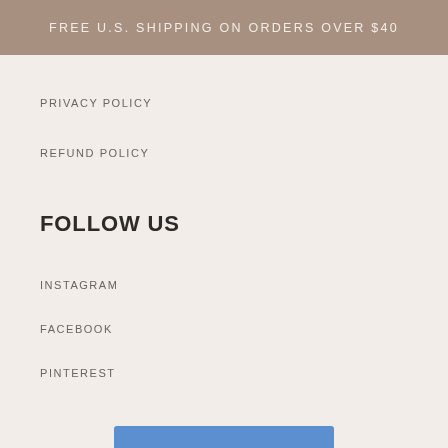FREE U.S. SHIPPING ON ORDERS OVER $40
PRIVACY POLICY
REFUND POLICY
FOLLOW US
INSTAGRAM
FACEBOOK
PINTEREST